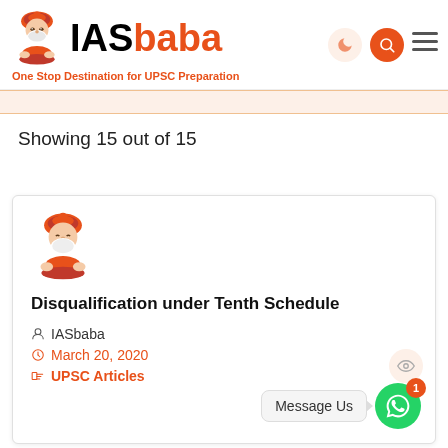IASbaba — One Stop Destination for UPSC Preparation
Showing 15 out of 15
[Figure (illustration): IASbaba mascot — meditating bearded figure with orange turban]
Disqualification under Tenth Schedule
IASbaba
March 20, 2020
UPSC Articles
Message Us